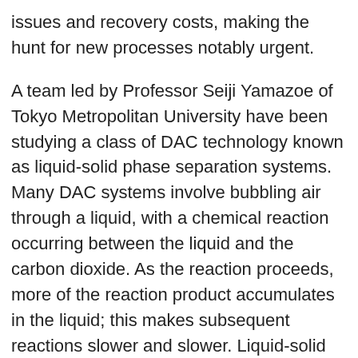issues and recovery costs, making the hunt for new processes notably urgent.
A team led by Professor Seiji Yamazoe of Tokyo Metropolitan University have been studying a class of DAC technology known as liquid-solid phase separation systems. Many DAC systems involve bubbling air through a liquid, with a chemical reaction occurring between the liquid and the carbon dioxide. As the reaction proceeds, more of the reaction product accumulates in the liquid; this makes subsequent reactions slower and slower. Liquid-solid phase separation systems offer an elegant solution, where the reaction product is insoluble and comes out of solution as a solid. There is no accumulation of product in the liquid, and the reaction speed does not slow down much.